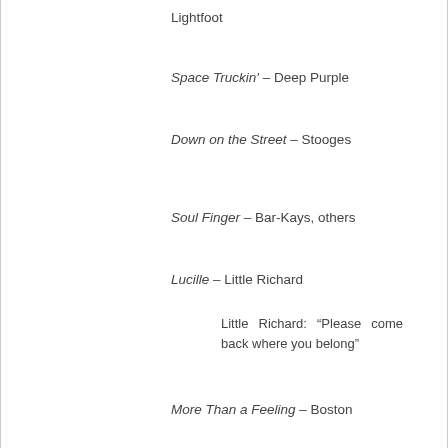Lightfoot
Space Truckin' – Deep Purple
Down on the Street – Stooges
Soul Finger – Bar-Kays, others
Lucille – Little Richard
Little Richard: “Please come back where you belong”
More Than a Feeling – Boston